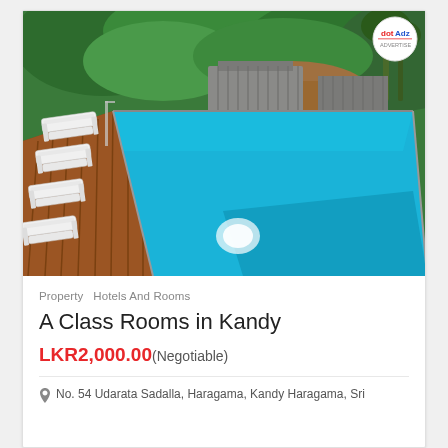[Figure (photo): Aerial/overhead view of a swimming pool with blue water, wooden deck with white lounge chairs, and lush green tropical vegetation in the background. A small logo badge is visible in the top-right corner of the photo.]
Property  Hotels And Rooms
A Class Rooms in Kandy
LKR2,000.00(Negotiable)
No. 54 Udarata Sadalla, Haragama, Kandy Haragama, Sri